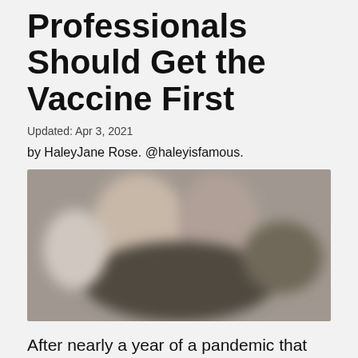Professionals Should Get the Vaccine First
Updated: Apr 3, 2021
by HaleyJane Rose. @haleyisfamous.
[Figure (photo): Blurred photo of people, likely healthcare workers in a medical setting]
After nearly a year of a pandemic that caused overcrowded hospitals and overworked healthcare professionals, it feels like there's a light at the end of the tunnel as the country begins rollouts for